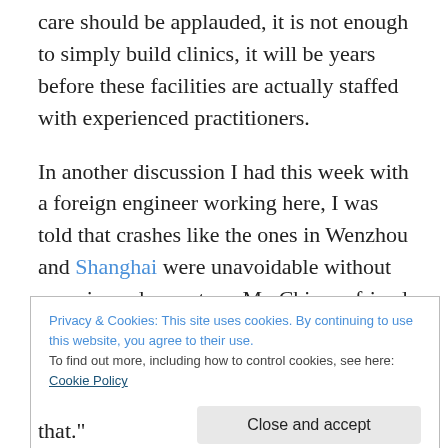care should be applauded, it is not enough to simply build clinics, it will be years before these facilities are actually staffed with experienced practitioners.
In another discussion I had this week with a foreign engineer working here, I was told that crashes like the ones in Wenzhou and Shanghai were unavoidable without experienced operators. My Chinese friend quickly pointed out that this would mean that China shouldn't be rushing ahead with new technologies, but instead be more cautious in expanding. The engineer agreed and shrugged
Privacy & Cookies: This site uses cookies. By continuing to use this website, you agree to their use.
To find out more, including how to control cookies, see here: Cookie Policy
that."